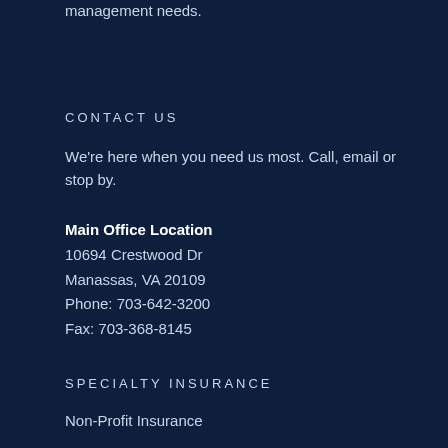management needs.
CONTACT US
We're here when you need us most. Call, email or stop by.
Main Office Location
10694 Crestwood Dr
Manassas, VA 20109
Phone: 703-642-3200
Fax: 703-368-8145
SPECIALTY INSURANCE
Non-Profit Insurance